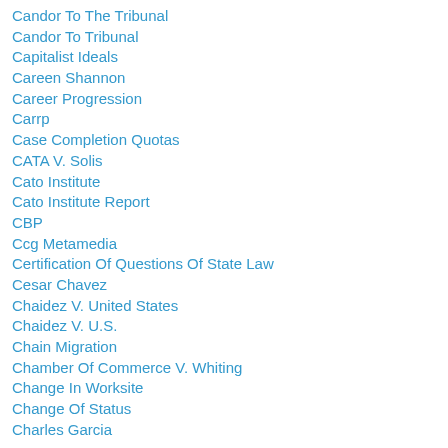Candor To The Tribunal
Candor To Tribunal
Capitalist Ideals
Careen Shannon
Career Progression
Carrp
Case Completion Quotas
CATA V. Solis
Cato Institute
Cato Institute Report
CBP
Ccg Metamedia
Certification Of Questions Of State Law
Cesar Chavez
Chaidez V. United States
Chaidez V. U.S.
Chain Migration
Chamber Of Commerce V. Whiting
Change In Worksite
Change Of Status
Charles Garcia